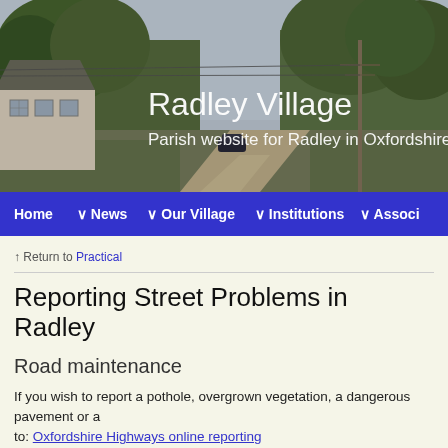[Figure (photo): Header photograph of Radley Village showing a rural lane with trees, a thatched/tiled cottage, and a car in the background. Overlaid with white text showing 'Radley Village' and 'Parish website for Radley in Oxfordshire'.]
Home | News | Our Village | Institutions | Associ...
↑ Return to Practical
Reporting Street Problems in Radley
Road maintenance
If you wish to report a pothole, overgrown vegetation, a dangerous pavement or a... to: Oxfordshire Highways online reporting
Potholes: There is great concern about the potholes and condition of roads and...